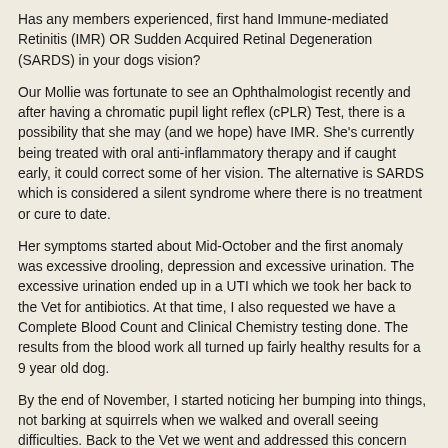Has any members experienced, first hand Immune-mediated Retinitis (IMR) OR Sudden Acquired Retinal Degeneration (SARDS) in your dogs vision?
Our Mollie was fortunate to see an Ophthalmologist recently and after having a chromatic pupil light reflex (cPLR) Test, there is a possibility that she may (and we hope) have IMR. She's currently being treated with oral anti-inflammatory therapy and if caught early, it could correct some of her vision. The alternative is SARDS which is considered a silent syndrome where there is no treatment or cure to date.
Her symptoms started about Mid-October and the first anomaly was excessive drooling, depression and excessive urination. The excessive urination ended up in a UTI which we took her back to the Vet for antibiotics. At that time, I also requested we have a Complete Blood Count and Clinical Chemistry testing done. The results from the blood work all turned up fairly healthy results for a 9 year old dog.
By the end of November, I started noticing her bumping into things, not barking at squirrels when we walked and overall seeing difficulties. Back to the Vet we went and addressed this concern and he set up a little obstacle course in the examination room and down the hall. Needless to say, she failed the test and knocked over every obstacle. He immediately referred us to the Ophthalmologist and we are very pleased with the examination and her thoroughness. At this point, I'm just confused and worried if we would have diagnosed this impairment sooner with the medications Mollie was just prescribed that it wouldn't have been